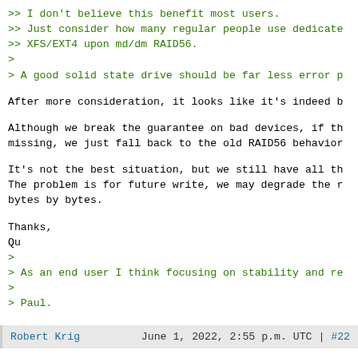>> I don't believe this benefit most users.
>> Just consider how many regular people use dedicate
>> XFS/EXT4 upon md/dm RAID56.
>
> A good solid state drive should be far less error p
After more consideration, it looks like it's indeed b
Although we break the guarantee on bad devices, if th
missing, we just fall back to the old RAID56 behavior
It's not the best situation, but we still have all th
The problem is for future write, we may degrade the r
bytes by bytes.
Thanks,
Qu
>
> As an end user I think focusing on stability and re
>
> Paul.
Robert Krig   June 1, 2022, 2:55 p.m. UTC | #22
I guess you guys are probably aware, but I thought I
anyway. With ZFS for example you can create mirrored
using either whole disks or just partitions.
Wouldn't a mirrored journal device remove the single
If you had the optional capability to create a raid1